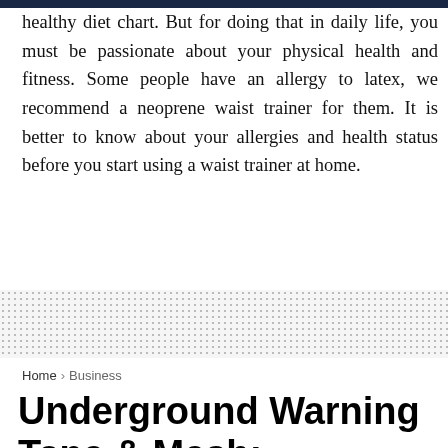healthy diet chart. But for doing that in daily life, you must be passionate about your physical health and fitness. Some people have an allergy to latex, we recommend a neoprene waist trainer for them. It is better to know about your allergies and health status before you start using a waist trainer at home.
Home › Business
Underground Warning Tape & Mesh: Features, Applications & Advantages